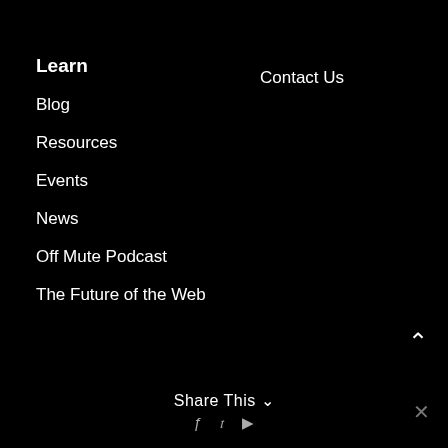Learn
Blog
Resources
Events
News
Off Mute Podcast
The Future of the Web
Contact Us
^
Share This
f  t  ▶